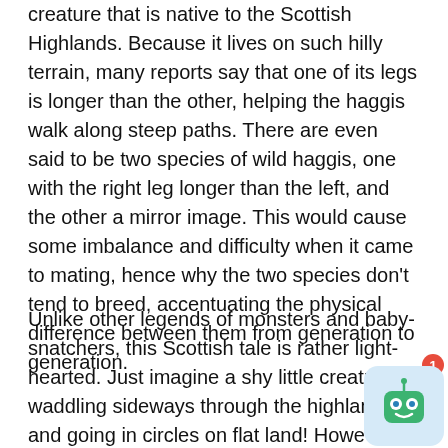creature that is native to the Scottish Highlands. Because it lives on such hilly terrain, many reports say that one of its legs is longer than the other, helping the haggis walk along steep paths. There are even said to be two species of wild haggis, one with the right leg longer than the left, and the other a mirror image. This would cause some imbalance and difficulty when it came to mating, hence why the two species don't tend to breed, accentuating the physical difference between them from generation to generation.
Unlike other legends of monsters and baby-snatchers, this Scottish tale is rather light-hearted. Just imagine a shy little creature waddling sideways through the highlands and going in circles on flat land! However, the famous haggis dish which you should try if you ever go to Scotland is not made from this mythical little creature but rather from sheep innards, cereals and spices. T...